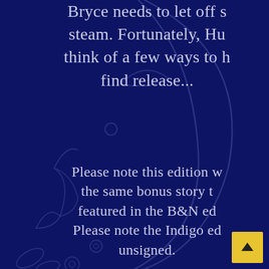[Figure (illustration): Decorative dark navy background with faint blue-gray outline of a crescent moon, bird/fish shape, and floral/leaf motifs]
Bryce needs to let off steam. Fortunately, Hu… think of a few ways to h… find release...
Please note this edition w… the same bonus story t… featured in the B&N ed… Please note the Indigo ed… unsigned.